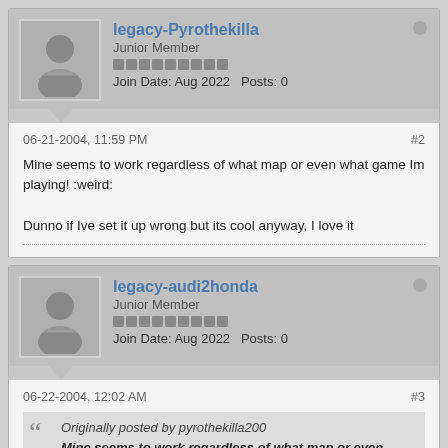legacy-Pyrothekilla
Junior Member
Join Date: Aug 2022   Posts: 0
06-21-2004, 11:59 PM
#2
Mine seems to work regardless of what map or even what game Im playing! :weird:

Dunno if Ive set it up wrong but its cool anyway, I love it
legacy-audi2honda
Junior Member
Join Date: Aug 2022   Posts: 0
06-22-2004, 12:02 AM
#3
Originally posted by pyrothekilla200
Mine seems to work regardless of what map or even what game Im playing! :weird: